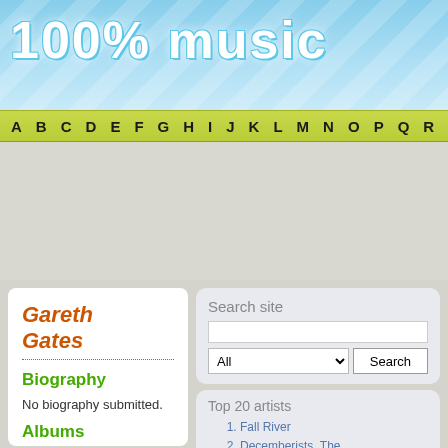[Figure (logo): 100% music website logo with large white bubbly text on blue gradient background with diagonal stripe pattern]
A B C D E F G H I J K L M N O P Q R S
Gareth Gates
Biography
No biography submitted.
Albums
Show all tracks
Search site
Top 20 artists
1. Fall River
2. Decemberists, The
3. Laura Veirs
4. Damien Rice
5. Nirvana
6. Flaming Lips, The
7. Kaiser Chiefs
8. Bedouin Soundclash